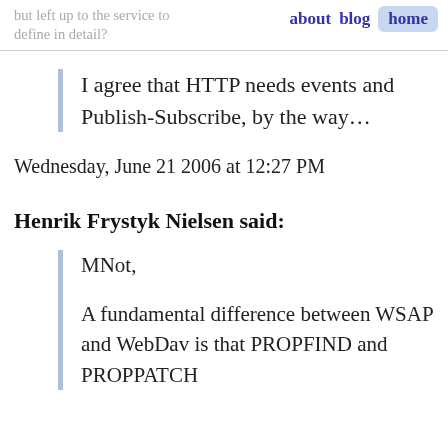but left up to the service to define in detail?  about  blog  home
I agree that HTTP needs events and Publish-Subscribe, by the way…
Wednesday, June 21 2006 at 12:27 PM
Henrik Frystyk Nielsen said:
MNot,

A fundamental difference between WSAP and WebDav is that PROPFIND and PROPPATCH